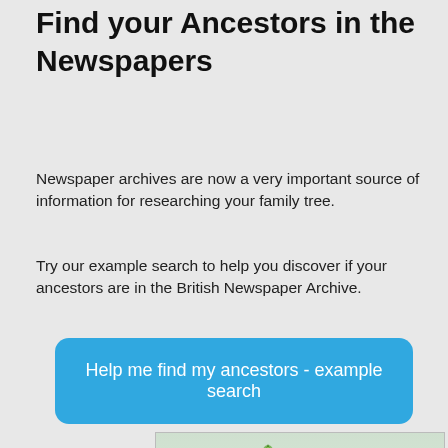Find your Ancestors in the Newspapers
Newspaper archives are now a very important source of information for researching your family tree.
Try our example search to help you discover if your ancestors are in the British Newspaper Archive.
Help me find my ancestors - example search
[Figure (illustration): Ancestry advertisement banner. Shows the Ancestry logo with a leaf icon, text 'Save 25% on AncestryDNA®*', a green 'Buy now' button, and two AncestryDNA kit boxes with a decorative leaf/DNA graphic on a green map background.]